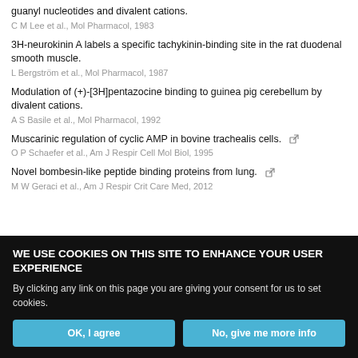guanyl nucleotides and divalent cations.
C M Lee et al., Mol Pharmacol, 1983
3H-neurokinin A labels a specific tachykinin-binding site in the rat duodenal smooth muscle.
L Bergström et al., Mol Pharmacol, 1987
Modulation of (+)-[3H]pentazocine binding to guinea pig cerebellum by divalent cations.
A S Basile et al., Mol Pharmacol, 1992
Muscarinic regulation of cyclic AMP in bovine trachealis cells.
O P Schaefer et al., Am J Respir Cell Mol Biol, 1995
Novel bombesin-like peptide binding proteins from lung.
M W Geraci et al., Am J Respir Crit Care Med, 2012
WE USE COOKIES ON THIS SITE TO ENHANCE YOUR USER EXPERIENCE
By clicking any link on this page you are giving your consent for us to set cookies.
OK, I agree
No, give me more info